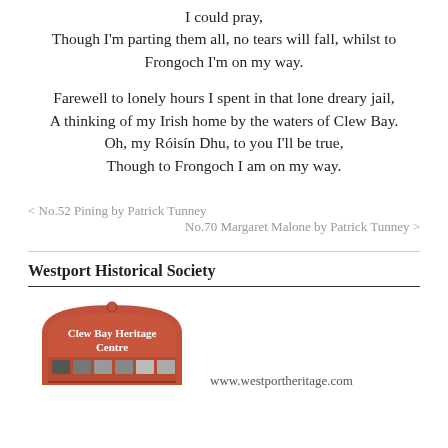I could pray,
Though I'm parting them all, no tears will fall, whilst to Frongoch I'm on my way.
Farewell to lonely hours I spent in that lone dreary jail,
A thinking of my Irish home by the waters of Clew Bay.
Oh, my Róisín Dhu, to you I'll be true,
Though to Frongoch I am on my way.
< No.52 Pining by Patrick Tunney
No.70 Margaret Malone by Patrick Tunney >
Westport Historical Society
[Figure (logo): Clew Bay Heritage Centre logo — a red/terracotta arch-shaped sign with 'Clew Bay Heritage Centre' text and small photo thumbnails at the bottom.]
www.westportheritage.com